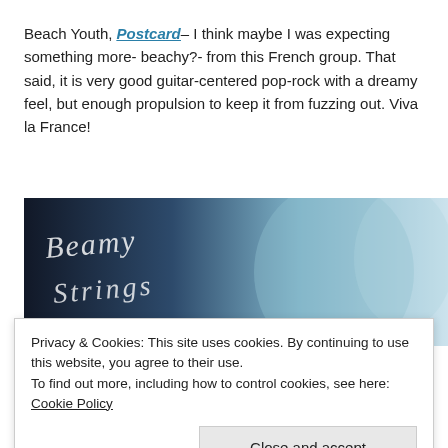Beach Youth, Postcard– I think maybe I was expecting something more- beachy?- from this French group. That said, it is very good guitar-centered pop-rock with a dreamy feel, but enough propulsion to keep it from fuzzing out. Viva la France!
[Figure (photo): A photo with a dark left side showing what appears to be a person with cursive/signature text overlay reading something like 'Beamy' or similar script, and a lighter right side with a blurred window/outdoor background.]
Privacy & Cookies: This site uses cookies. By continuing to use this website, you agree to their use.
To find out more, including how to control cookies, see here: Cookie Policy
Close and accept